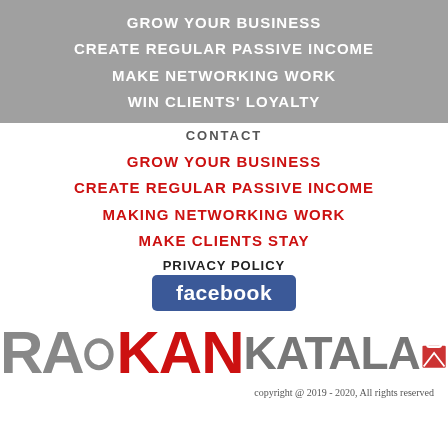GROW YOUR BUSINESS
CREATE REGULAR PASSIVE INCOME
MAKE NETWORKING WORK
WIN CLIENTS' LOYALTY
CONTACT
GROW YOUR BUSINESS
CREATE REGULAR PASSIVE INCOME
MAKING NETWORKING WORK
MAKE CLIENTS STAY
PRIVACY POLICY
[Figure (logo): Facebook logo button - blue rectangle with white 'facebook' text]
[Figure (logo): RAO KANKATALA brand logo with gray RAO text, red KAN text, gray KATALA text and red bag icon]
copyright @ 2019 - 2020, All rights reserved